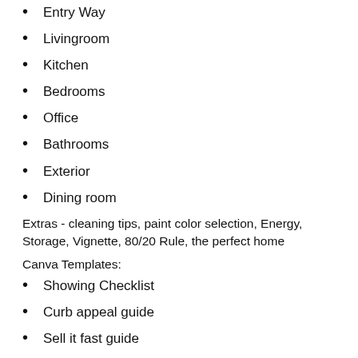Entry Way
Livingroom
Kitchen
Bedrooms
Office
Bathrooms
Exterior
Dining room
Extras - cleaning tips, paint color selection, Energy, Storage, Vignette, 80/20 Rule, the perfect home
Canva Templates:
Showing Checklist
Curb appeal guide
Sell it fast guide
Spring cleaning checklist
Home remodel workbook